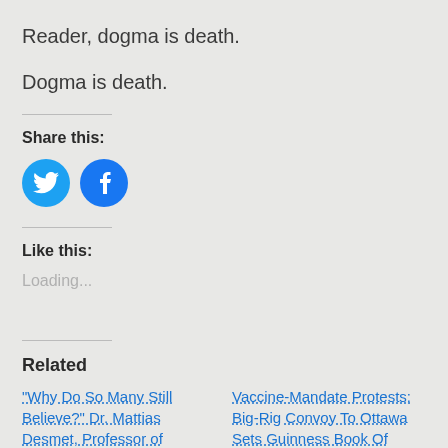Reader, dogma is death.
Dogma is death.
Share this:
[Figure (infographic): Two circular social media share buttons: Twitter (blue bird icon) and Facebook (blue f icon)]
Like this:
Loading...
Related
"Why Do So Many Still Believe?" Dr. Mattias Desmet, Professor of
Vaccine-Mandate Protests: Big-Rig Convoy To Ottawa Sets Guinness Book Of